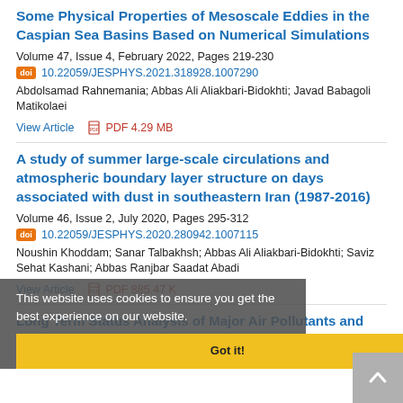Some Physical Properties of Mesoscale Eddies in the Caspian Sea Basins Based on Numerical Simulations
Volume 47, Issue 4, February 2022, Pages 219-230
10.22059/JESPHYS.2021.318928.1007290
Abdolsamad Rahnemania; Abbas Ali Aliakbari-Bidokhti; Javad Babagoli Matikolaei
View Article   PDF 4.29 MB
A study of summer large-scale circulations and atmospheric boundary layer structure on days associated with dust in southeastern Iran (1987-2016)
Volume 46, Issue 2, July 2020, Pages 295-312
10.22059/JESPHYS.2020.280942.1007115
Noushin Khoddam; Sahar Talbakhsh; Abbas Ali Aliakbari-Bidokhti; Saviz Sehat Kashani; Abbas Ranjbar Saadat Abadi
View Article   PDF 885.47 K
This website uses cookies to ensure you get the best experience on our website.
Got it!
Long Term Status Analysis of Major Air Pollutants and